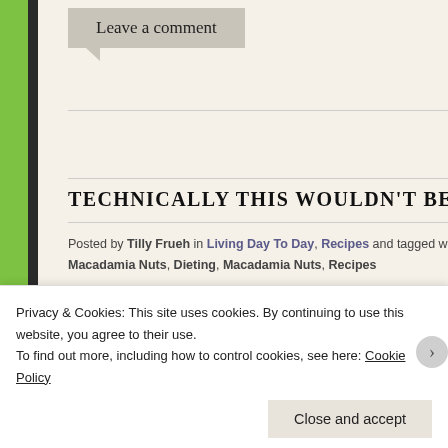Leave a comment
TECHNICALLY THIS WOULDN'T BE CHEATIN
Posted by Tilly Frueh in Living Day To Day, Recipes and tagged with Macadamia Nuts, Dieting, Macadamia Nuts, Recipes
Okay, so here I am firmly set in my resolve to lose a few and sitting on the kitchen counter are piles of baking su to use back during the holidays. I have them sitting the is a good time for baking, not just the holidays. Well, th
Privacy & Cookies: This site uses cookies. By continuing to use this website, you agree to their use.
To find out more, including how to control cookies, see here: Cookie Policy
Close and accept